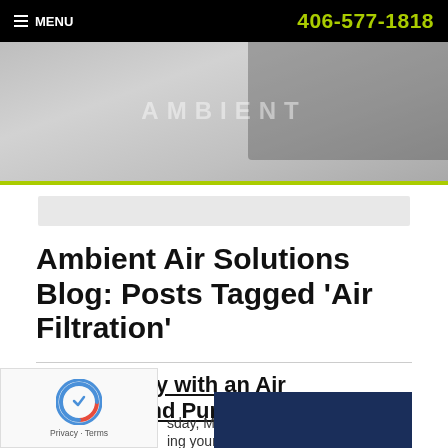MENU  406-577-1818
[Figure (photo): Hero banner image showing a vehicle or equipment with 'AMBIENT' text overlay, gray toned photo]
Ambient Air Solutions Blog: Posts Tagged ‘Air Filtration’
Stay Healthy with an Air Filtration and Purification System
sday, March 12th, 2020
ing your home air safe has never been as